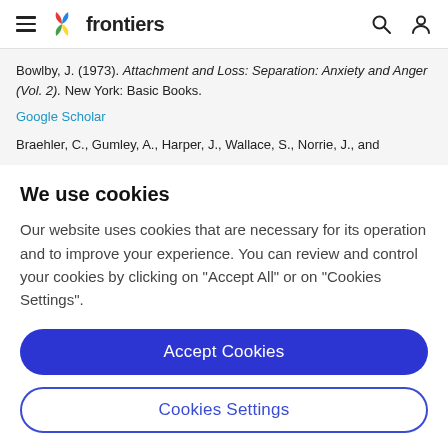frontiers (navigation bar with hamburger menu, logo, search and user icons)
Bowlby, J. (1973). Attachment and Loss: Separation: Anxiety and Anger (Vol. 2). New York: Basic Books.
Google Scholar
Braehler, C., Gumley, A., Harper, J., Wallace, S., Norrie, J., and
We use cookies
Our website uses cookies that are necessary for its operation and to improve your experience. You can review and control your cookies by clicking on "Accept All" or on "Cookies Settings".
Accept Cookies
Cookies Settings